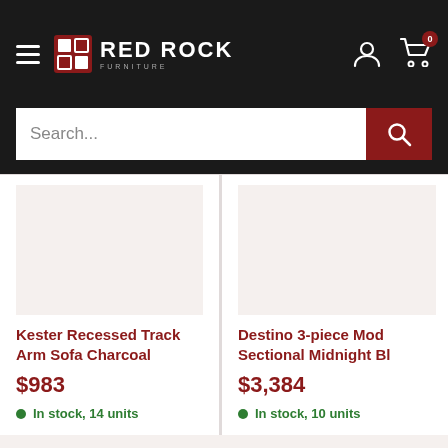[Figure (screenshot): Red Rock Furniture website header with hamburger menu, logo, user icon, and cart icon with badge showing 0]
Search...
Kester Recessed Track Arm Sofa Charcoal
$983
In stock, 14 units
Destino 3-piece Mod Sectional Midnight Bl
$3,384
In stock, 10 units